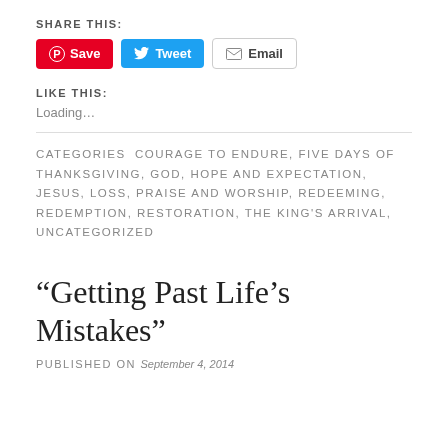SHARE THIS:
[Figure (other): Share buttons: Pinterest Save, Twitter Tweet, Email]
LIKE THIS:
Loading...
CATEGORIES  COURAGE TO ENDURE, FIVE DAYS OF THANKSGIVING, GOD, HOPE AND EXPECTATION, JESUS, LOSS, PRAISE AND WORSHIP, REDEEMING, REDEMPTION, RESTORATION, THE KING'S ARRIVAL, UNCATEGORIZED
“Getting Past Life’s Mistakes”
PUBLISHED ON September 4, 2014